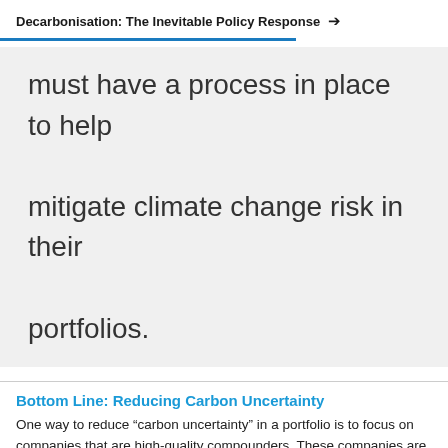Decarbonisation: The Inevitable Policy Response
must have a process in place to help mitigate climate change risk in their portfolios.
Bottom Line: Reducing Carbon Uncertainty
One way to reduce “carbon uncertainty” in a portfolio is to focus on companies that are high-quality compounders. These companies are typically naturally carbon-light, benefit from pricing power and